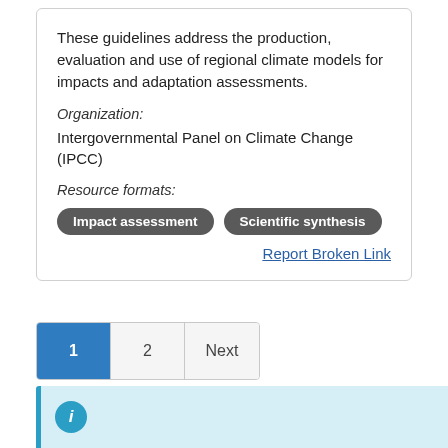These guidelines address the production, evaluation and use of regional climate models for impacts and adaptation assessments.
Organization:
Intergovernmental Panel on Climate Change (IPCC)
Resource formats:
Impact assessment
Scientific synthesis
Report Broken Link
1  2  Next
[Figure (other): Info icon circle with letter i, inside a light blue info box at the bottom of the page]